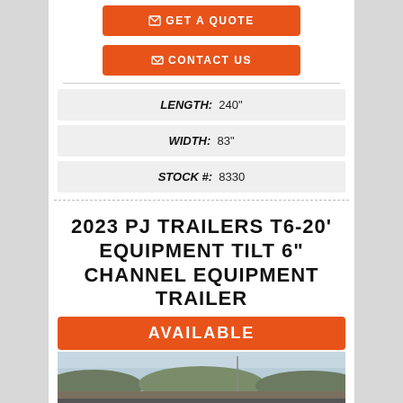GET A QUOTE
CONTACT US
| LENGTH: | 240" |
| WIDTH: | 83" |
| STOCK #: | 8330 |
2023 PJ TRAILERS T6-20' EQUIPMENT TILT 6" CHANNEL EQUIPMENT TRAILER
AVAILABLE
[Figure (photo): Photo of a trailer with mountains/hills in the background under an overcast sky]